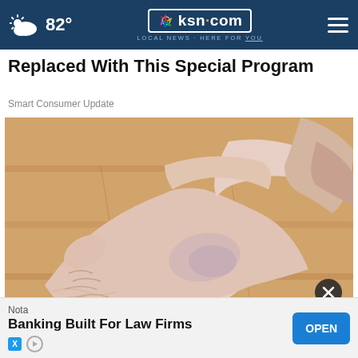82° | ksn.com LOCAL NEWS · HERE FOR YOU
Replaced With This Special Program
Smart Consumer Update
[Figure (photo): Close-up photo of a bare human foot and ankle being held, showing dry cracked skin on heel and ankle area, on a light wood floor background]
Do V... a Loo...
Nota
Banking Built For Law Firms
OPEN